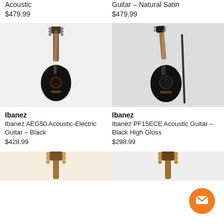Acoustic
$479.99
Guitar - Natural Satin
$479.99
[Figure (photo): Ibanez AEG50 black acoustic-electric guitar on white background]
[Figure (photo): Ibanez PF15ECE black acoustic guitar on stand with white background]
Ibanez
Ibanez AEG50 Acoustic-Electric Guitar - Black
$428.99
Ibanez
Ibanez PF15ECE Acoustic Guitar - Black High Gloss
$298.99
[Figure (photo): Partial view of acoustic guitar neck/headstock]
[Figure (photo): Partial view of acoustic guitar headstock]